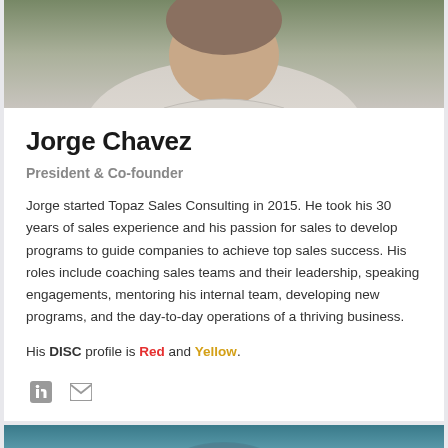[Figure (photo): Partial photo of Jorge Chavez at top of card, showing shoulders and lower face area with light gray shirt]
Jorge Chavez
President & Co-founder
Jorge started Topaz Sales Consulting in 2015. He took his 30 years of sales experience and his passion for sales to develop programs to guide companies to achieve top sales success. His roles include coaching sales teams and their leadership, speaking engagements, mentoring his internal team, developing new programs, and the day-to-day operations of a thriving business.
His DISC profile is Red and Yellow.
[Figure (illustration): LinkedIn and email social media icons]
[Figure (photo): Partial photo at bottom of page, teal/blue toned, showing top of another person's head]